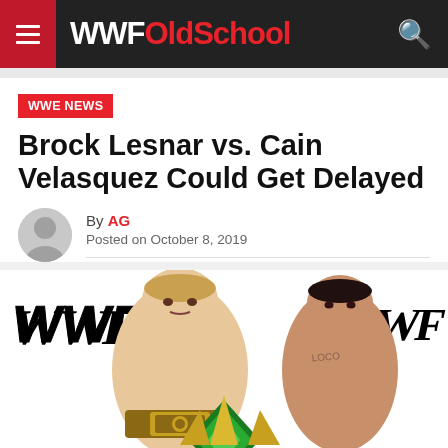WWFOldSchool
WWE NEWS
Brock Lesnar vs. Cain Velasquez Could Get Delayed
By AG
Posted on October 8, 2019
[Figure (photo): WWE Crown Jewel promotional image featuring Brock Lesnar and Cain Velasquez with WWF logos and Crown Jewel branding]